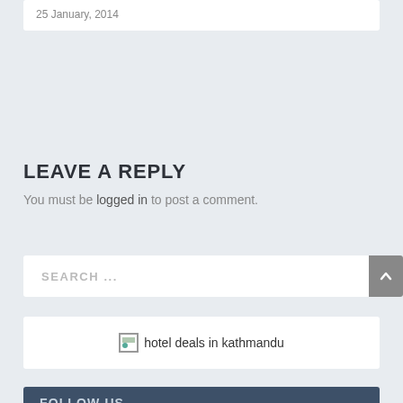25 January, 2014
LEAVE A REPLY
You must be logged in to post a comment.
SEARCH ...
[Figure (other): Broken image placeholder for hotel deals in kathmandu widget]
FOLLOW US